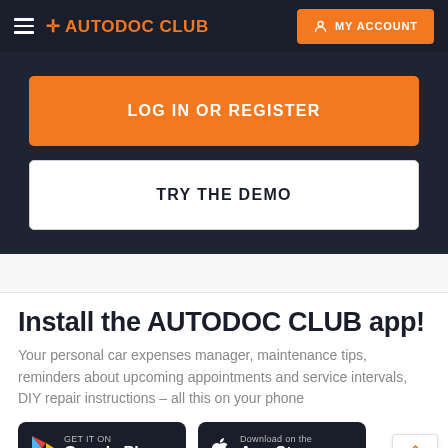+ AUTODOC CLUB  MY ACCOUNT
LOG IN OR REGISTER
TRY THE DEMO
Install the AUTODOC CLUB app!
Your personal car expenses manager, maintenance tips, reminders about upcoming appointments and service intervals, DIY repair instructions – all this on your phone
[Figure (logo): Google Play store badge: GET IT ON Google Play]
[Figure (logo): Apple App Store badge: Download on the App Store]